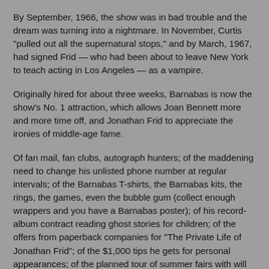By September, 1966, the show was in bad trouble and the dream was turning into a nightmare. In November, Curtis "pulled out all the supernatural stops," and by March, 1967, had signed Frid — who had been about to leave New York to teach acting in Los Angeles — as a vampire.
Originally hired for about three weeks, Barnabas is now the show's No. 1 attraction, which allows Joan Bennett more and more time off, and Jonathan Frid to appreciate the ironies of middle-age fame.
Of fan mail, fan clubs, autograph hunters; of the maddening need to change his unlisted phone number at regular intervals; of the Barnabas T-shirts, the Barnabas kits, the rings, the games, even the bubble gum (collect enough wrappers and you have a Barnabas poster); of his record-album contract reading ghost stories for children; of the offers from paperback companies for "The Private Life of Jonathan Frid"; of the $1,000 tips he gets for personal appearances; of the planned tour of summer fairs with will net him far more; of the Dallas paper - Dallas! - that named Jackie Kennedy and Jonathan Frid as "the two great publicity